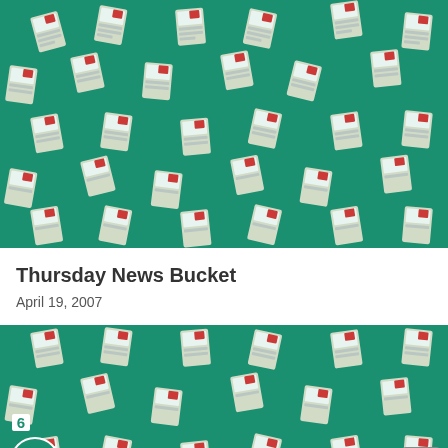[Figure (illustration): Tiled pattern of newspaper icons on a teal/green background, repeated across the full width]
Thursday News Bucket
April 19, 2007
[Figure (illustration): Tiled pattern of newspaper icons on a teal/green background, repeated across the full width, partial view at bottom of page]